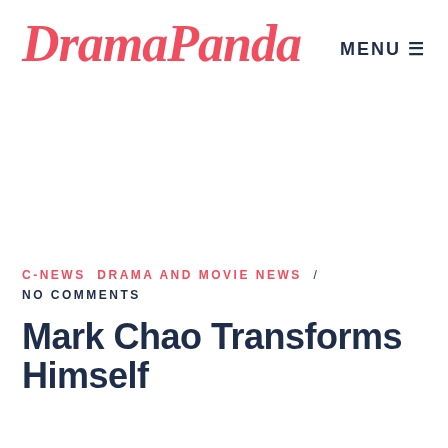DramaPanda
MENU
C-NEWS  DRAMA AND MOVIE NEWS  /  NO COMMENTS
Mark Chao Transforms Himself